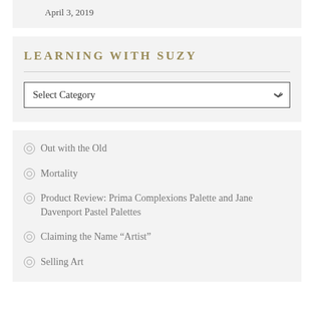April 3, 2019
LEARNING WITH SUZY
Select Category
Out with the Old
Mortality
Product Review: Prima Complexions Palette and Jane Davenport Pastel Palettes
Claiming the Name “Artist”
Selling Art